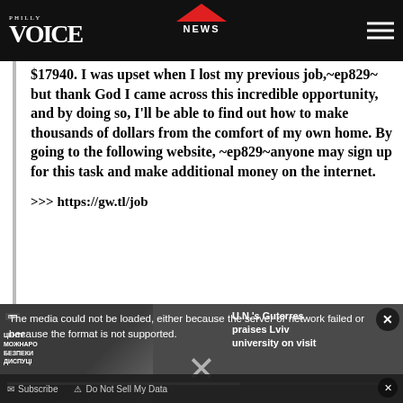PHILLY VOICE | NEWS
$17940. I was upset when I lost my previous job,~ep829~ but thank God I came across this incredible opportunity, and by doing so, I'll be able to find out how to make thousands of dollars from the comfort of my own home. By going to the following website, ~ep829~anyone may sign up for this task and make additional money on the internet.

>>> https://gw.tl/job
[Figure (screenshot): Video player overlay showing error message 'The media could not be loaded, either because the server or network failed or because the format is not supported.' with a related article title 'U.N.'s Guterres praises Lviv university on visit', a close button, a center X dismiss button, a progress bar, and a footer with Subscribe and Do Not Sell My Data options.]